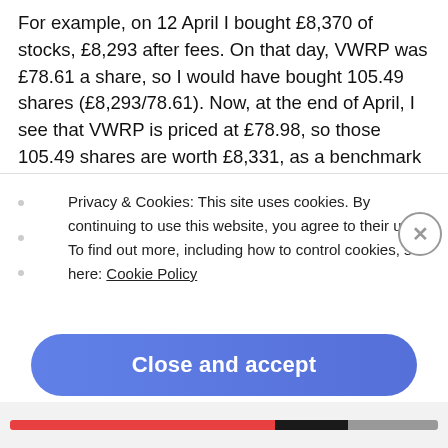For example, on 12 April I bought £8,370 of stocks, £8,293 after fees. On that day, VWRP was £78.61 a share, so I would have bought 105.49 shares (£8,293/78.61). Now, at the end of April, I see that VWRP is priced at £78.98, so those 105.49 shares are worth £8,331, as a benchmark to compare against.
Actual numbers: between March & April, I contributed £8,870 to my ISA – I actually bought £8,740 of stocks plus £15 of cash, with another £73 going to fees and £42
Privacy & Cookies: This site uses cookies. By continuing to use this website, you agree to their use.
To find out more, including how to control cookies, see here: Cookie Policy
Close and accept